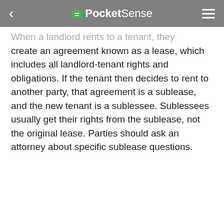PocketSense
When a landlord rents to a tenant, they create an agreement known as a lease, which includes all landlord-tenant rights and obligations. If the tenant then decides to rent to another party, that agreement is a sublease, and the new tenant is a sublessee. Sublessees usually get their rights from the sublease, not the original lease. Parties should ask an attorney about specific sublease questions.